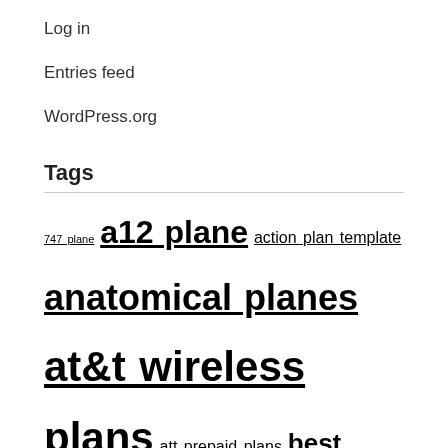Log in
Entries feed
WordPress.org
Tags
747 plane a12 plane action plan template anatomical planes at&t wireless plans att prepaid plans best phone plans bidens tax plan body planes cheap phone plans cheap plane tickets cricket wireless plans deck plans diabetic diet plan diabetic meal plan diet meal plan diet plan escape plan estate planning attorney farmhouse floor plans